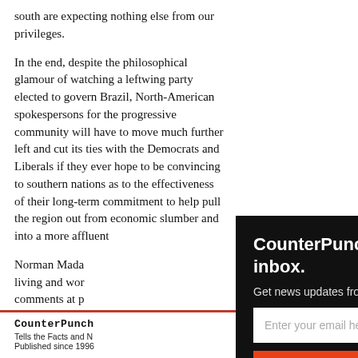south are expecting nothing else from our privileges.
In the end, despite the philosophical glamour of watching a leftwing party elected to govern Brazil, North-American spokespersons for the progressive community will have to move much further left and cut its ties with the Democrats and Liberals if they ever hope to be convincing to southern nations as to the effectiveness of their long-term commitment to help pull the region out from economic slumber and into a more affluent
Norman Mada... living and wor... comments at p...
[Figure (screenshot): CounterPunch email signup popup modal with dark background. Contains title 'CounterPunch delivered to your inbox.', subtitle 'Get news updates from CounterPunch', an email input field, and a red 'Sign Up' button. Has an X close button in the top right.]
CounterPunch
Tells the Facts and N...
Published since 1996